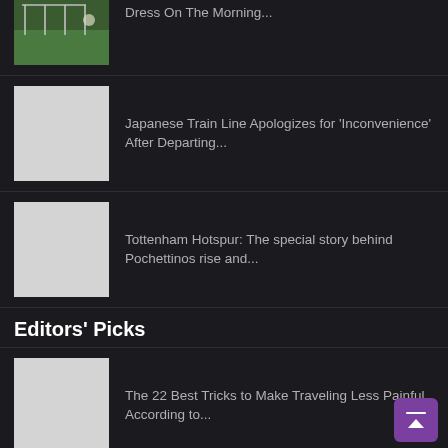[Figure (photo): Outdoor photo with green grass and white structures in background]
Dress On The Morning...
[Figure (photo): Placeholder grey image]
Japanese Train Line Apologizes for 'Inconvenience' After Departing...
[Figure (photo): Placeholder grey image]
Tottenham Hotspur: The special story behind Pochettinos rise and...
Editors' Picks
[Figure (photo): Placeholder grey image]
The 22 Best Tricks to Make Traveling Less Painful, According to...
[Figure (photo): Placeholder grey image]
From Branding to Recruiting, Check Out the 10 Business Trends to...